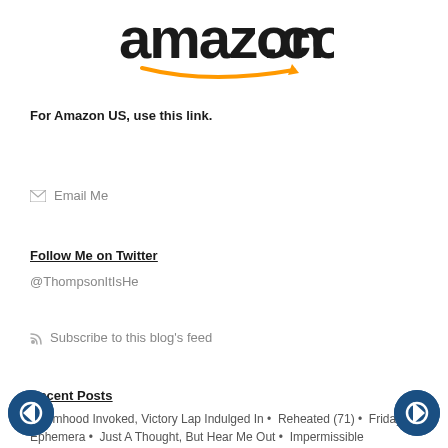[Figure (logo): Amazon.com logo with orange swoosh arrow]
For Amazon US, use this link.
✉ Email Me
Follow Me on Twitter
@ThompsonItIsHe
Subscribe to this blog's feed
Recent Posts
Victimhood Invoked, Victory Lap Indulged In • Reheated (71) • Friday Ephemera • Just A Thought, But Hear Me Out • Impermissible Notions • Friday Ephemera • Space No-One Can Hear You Scream • Not In Fact An Optimal Situation • Friday Ephemera • Only Doing It For The Betterment Of Us All